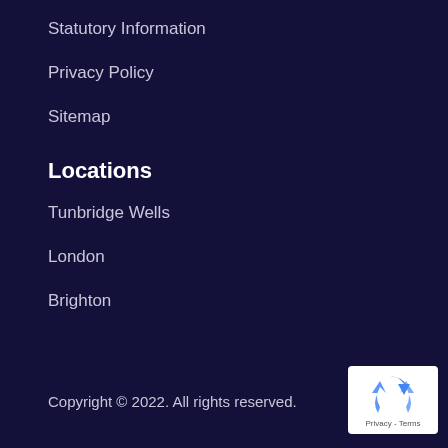Statutory Information
Privacy Policy
Sitemap
Locations
Tunbridge Wells
London
Brighton
Copyright © 2022. All rights reserved.
[Figure (logo): Google reCAPTCHA badge with blue recycle-arrow icon and 'Privacy - Terms' text]